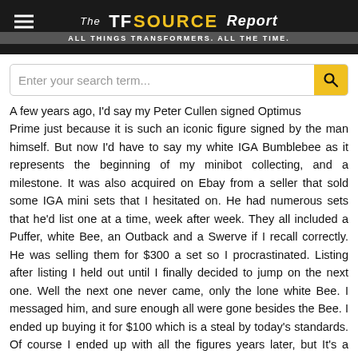The TF SOURCE Report — ALL THINGS TRANSFORMERS. ALL THE TIME.
A few years ago, I'd say my Peter Cullen signed Optimus Prime just because it is such an iconic figure signed by the man himself. But now I'd have to say my white IGA Bumblebee as it represents the beginning of my minibot collecting, and a milestone. It was also acquired on Ebay from a seller that sold some IGA mini sets that I hesitated on. He had numerous sets that he'd list one at a time, week after week. They all included a Puffer, white Bee, an Outback and a Swerve if I recall correctly. He was selling them for $300 a set so I procrastinated. Listing after listing I held out until I finally decided to jump on the next one. Well the next one never came, only the lone white Bee. I messaged him, and sure enough all were gone besides the Bee. I ended up buying it for $100 which is a steal by today's standards. Of course I ended up with all the figures years later, but It's a reminder to jump on stuff you really want when you have a chance, because you might not get another.